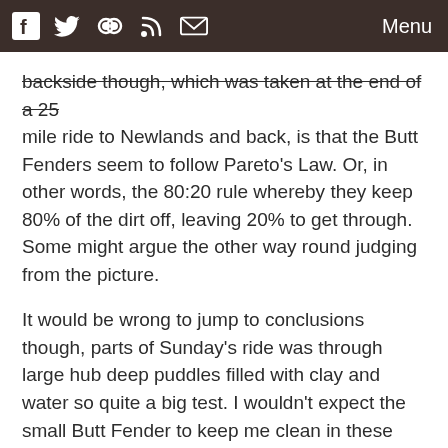Menu
backside though, which was taken at the end of a 25 mile ride to Newlands and back, is that the Butt Fenders seem to follow Pareto's Law. Or, in other words, the 80:20 rule whereby they keep 80% of the dirt off, leaving 20% to get through. Some might argue the other way round judging from the picture.
It would be wrong to jump to conclusions though, parts of Sunday's ride was through large hub deep puddles filled with clay and water so quite a big test. I wouldn't expect the small Butt Fender to keep me clean in these circumstances and while the trail looks dry in the photo, in truth there was plenty of mud about. My saddle remained completely free of mud and even if my lower back got a light coating of mud there was never enough to wet me.